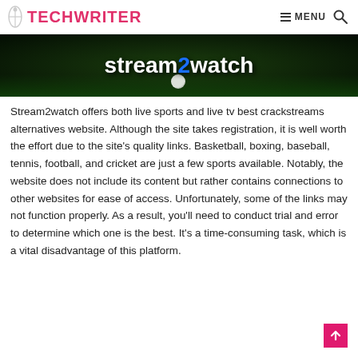TECHWRITER | MENU [search]
[Figure (photo): Stream2watch website banner image showing the logo text 'stream2watch' on a dark green/black background with a soccer ball and player legs visible]
Stream2watch offers both live sports and live tv best crackstreams alternatives website. Although the site takes registration, it is well worth the effort due to the site's quality links. Basketball, boxing, baseball, tennis, football, and cricket are just a few sports available. Notably, the website does not include its content but rather contains connections to other websites for ease of access. Unfortunately, some of the links may not function properly. As a result, you'll need to conduct trial and error to determine which one is the best. It's a time-consuming task, which is a vital disadvantage of this platform.